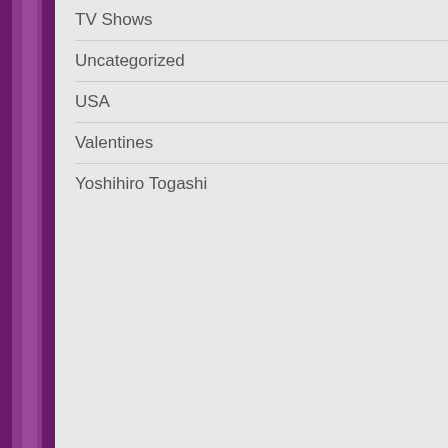TV Shows [+]
Uncategorized
USA [+]
Valentines
Yoshihiro Togashi
WARNING MAY BE A LITTLE NS...
Success! Medicated Shampoo for...
Suntory Boss Rainbow with Tommy...
Ayumi Hamasaki's Latest Power Si...
UFO Ramen!
Shiseido UFO Fiber!
Princess Kaguya endorses Vitami...
Wonda Morning Shot!
Posted in Commercials, Daisuke Sakagu... Masaya Onosaka, Miscellany, Nobuo Tobi... Toshiyuki Morikawa, Unshou Ishizuka